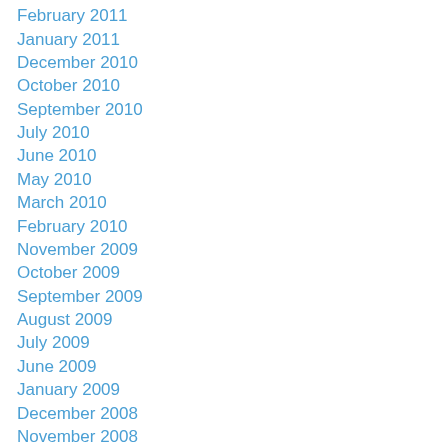February 2011
January 2011
December 2010
October 2010
September 2010
July 2010
June 2010
May 2010
March 2010
February 2010
November 2009
October 2009
September 2009
August 2009
July 2009
June 2009
January 2009
December 2008
November 2008
October 2008